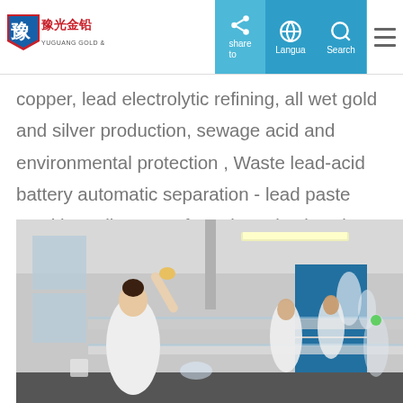Yuguang Gold & Lead — navigation header with logo, share, language, search, and menu icons
copper, lead electrolytic refining, all wet gold and silver production, sewage acid and environmental protection , Waste lead-acid battery automatic separation - lead paste smelting, alloy manufacturing, plastic color separation granulation and its supporting comprehensive recovery and other fields.
[Figure (photo): Laboratory photo showing scientists in white lab coats working at glass-shelf benches with laboratory equipment, bottles, and glassware. Blue accent panels visible in background.]